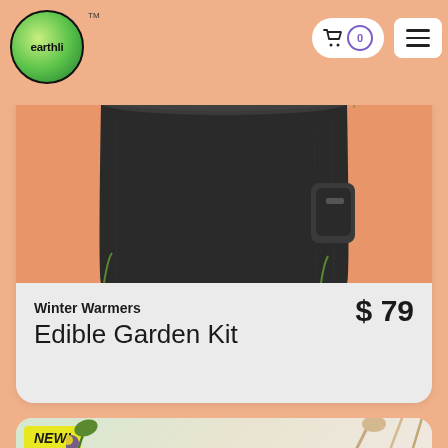[Figure (logo): Earthli brand logo - circular green gradient logo with 'earthli' text and TM mark]
[Figure (screenshot): E-commerce product page screenshot showing a black fabric grow bag filled with herbs/plants on a peach/orange background]
Winter Warmers
Edible Garden Kit
$79
[Figure (photo): NEW! badge over a second product card featuring gardening tools on a light background]